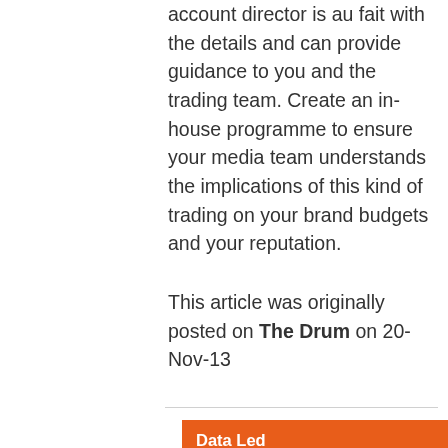account director is au fait with the details and can provide guidance to you and the trading team. Create an in-house programme to ensure your media team understands the implications of this kind of trading on your brand budgets and your reputation.
This article was originally posted on The Drum on 20-Nov-13
Data Led Trading
Data Ownership
Media Buying